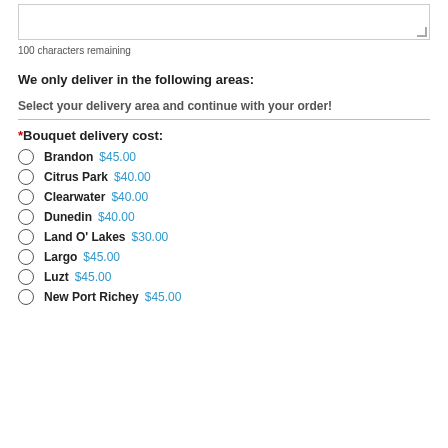100 characters remaining
We only deliver in the following areas:
Select your delivery area and continue with your order!
*Bouquet delivery cost:
Brandon  $45.00
Citrus Park  $40.00
Clearwater  $40.00
Dunedin  $40.00
Land O' Lakes  $30.00
Largo  $45.00
Luzt  $45.00
New Port Richey  $45.00